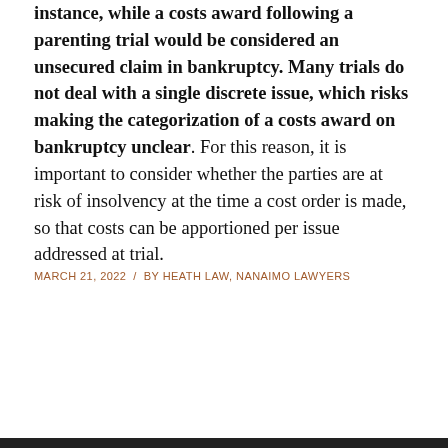instance, while a costs award following a parenting trial would be considered an unsecured claim in bankruptcy. Many trials do not deal with a single discrete issue, which risks making the categorization of a costs award on bankruptcy unclear. For this reason, it is important to consider whether the parties are at risk of insolvency at the time a cost order is made, so that costs can be apportioned per issue addressed at trial.
MARCH 21, 2022 / BY HEATH LAW, NANAIMO LAWYERS